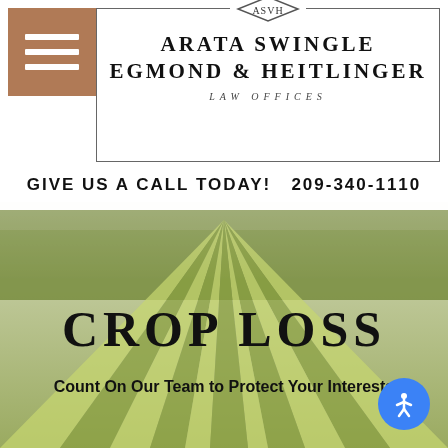[Figure (photo): Aerial view of green farmland with rows of crops extending to the horizon, misty/hazy background with trees]
[Figure (logo): Arata Swingle Egmond & Heitlinger Law Offices logo with diamond ASVH monogram and firm name in a bordered rectangle]
GIVE US A CALL TODAY!   209-340-1110
CROP LOSS
Count On Our Team to Protect Your Interests